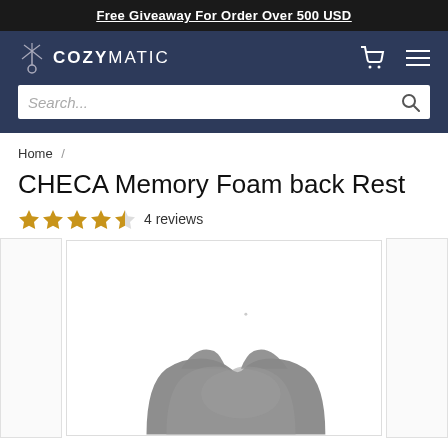Free Giveaway For Order Over 500 USD
[Figure (logo): Cozymatic logo with ceiling fan icon and text COZYMATIC in white on dark navy background, with cart and hamburger menu icons]
Search...
Home /
CHECA Memory Foam back Rest
4 reviews
[Figure (photo): Gray memory foam back rest cushion product photo, shown from above at an angle, against white background]